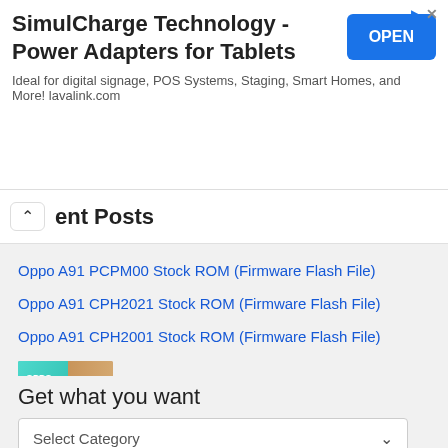[Figure (screenshot): Advertisement banner for SimulCharge Technology - Power Adapters for Tablets with OPEN button]
ent Posts
Oppo A91 PCPM00 Stock ROM (Firmware Flash File)
Oppo A91 CPH2021 Stock ROM (Firmware Flash File)
Oppo A91 CPH2001 Stock ROM (Firmware Flash File)
Oppo A83T Stock ROM (Firmware Flash File)
Oppo A83JS Stock ROM (Firmware Flash File)
Get what you want
Select Category